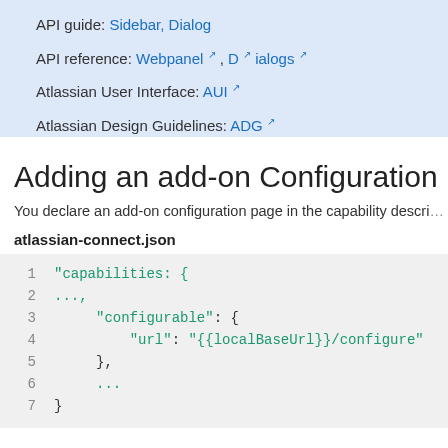API guide: Sidebar, Dialog
API reference: Webpanel ↗ , D ↗ ialogs ↗
Atlassian User Interface: AUI ↗
Atlassian Design Guidelines: ADG ↗
Adding an add-on Configuration page
You declare an add-on configuration page in the capability descri...
atlassian-connect.json
1  "capabilities: {
2       ...,
3       "configurable": {
4            "url": "{{localBaseUrl}}/configure"
5       },
6       ...
7  }